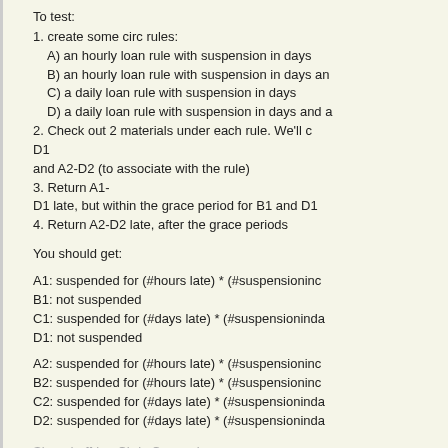To test:
1.  create some circ rules:
A) an hourly loan rule with suspension in days
B) an hourly loan rule with suspension in days an
C) a daily loan rule with suspension in days
D) a daily loan rule with suspension in days and a
2.  Check out 2 materials under each rule.  We'll c D1 and A2-D2 (to associate with the rule)
3.  Return A1-D1 late, but within the grace period for B1 and D1
4.  Return A2-D2 late, after the grace periods
You should get:
A1: suspended for (#hours late) * (#suspensioninc
B1: not suspended
C1: suspended for (#days late) * (#suspensioninda
D1: not suspended
A2: suspended for (#hours late) * (#suspensioninc
B2: suspended for (#hours late) * (#suspensioninc
C2: suspended for (#days late) * (#suspensioninda
D2: suspended for (#days late) * (#suspensioninda
Signed-off-by: Chris Cormack <chrisc@catalyst.net.nz>
Signed-off-by: Paul Poulain <paul.poulain@biblibre.com>